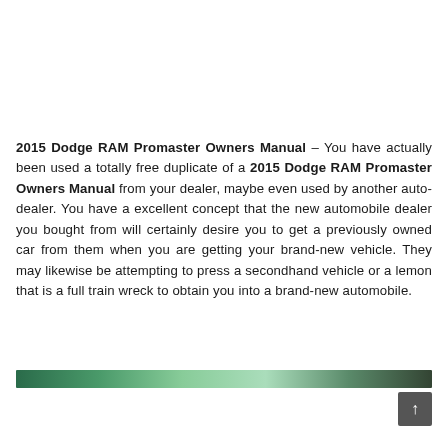2015 Dodge RAM Promaster Owners Manual – You have actually been used a totally free duplicate of a 2015 Dodge RAM Promaster Owners Manual from your dealer, maybe even used by another auto-dealer. You have a excellent concept that the new automobile dealer you bought from will certainly desire you to get a previously owned car from them when you are getting your brand-new vehicle. They may likewise be attempting to press a secondhand vehicle or a lemon that is a full train wreck to obtain you into a brand-new automobile.
[Figure (photo): Partial view of an automobile image, cropped at bottom of page]